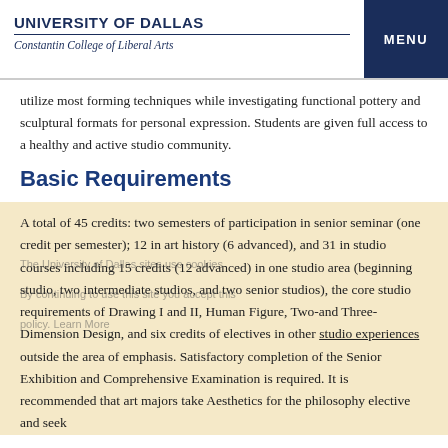UNIVERSITY OF DALLAS
Constantin College of Liberal Arts
MENU
utilize most forming techniques while investigating functional pottery and sculptural formats for personal expression. Students are given full access to a healthy and active studio community.
Basic Requirements
A total of 45 credits: two semesters of participation in senior seminar (one credit per semester); 12 in art history (6 advanced), and 31 in studio courses including 15 credits (12 advanced) in one studio area (beginning studio, two intermediate studios, and two senior studios), the core studio requirements of Drawing I and II, Human Figure, Two-and Three-Dimension Design, and six credits of electives in other studio experiences outside the area of emphasis. Satisfactory completion of the Senior Exhibition and Comprehensive Examination is required. It is recommended that art majors take Aesthetics for the philosophy elective and seek